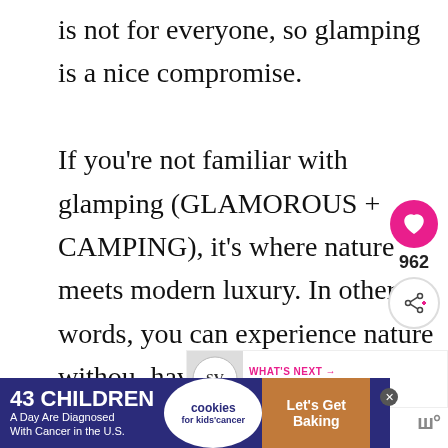is not for everyone, so glamping is a nice compromise.

If you're not familiar with glamping (GLAMOROUS + CAMPING), it's where nature meets modern luxury. In other words, you can experience nature without having to sacrifice all your creature comforts.
[Figure (screenshot): Heart/like button icon (pink circle with white heart), share count 962, and share button]
[Figure (screenshot): What's Next promo: SV logo, text 'Yes RSVP Is French So...']
[Figure (photo): Nature photo showing trees with green and yellow foliage]
[Figure (screenshot): Advertisement banner: 43 Children A Day Are Diagnosed With Cancer in the U.S., cookies for kids cancer, Let's Get Baking]